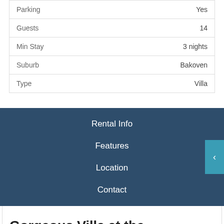| Property | Value |
| --- | --- |
| Parking | Yes |
| Guests | 14 |
| Min Stay | 3 nights |
| Suburb | Bakoven |
| Type | Villa |
Rental Info
Features
Location
Contact
Gorgeous Villa at the foot of the 12 A
Hi, how can I help?